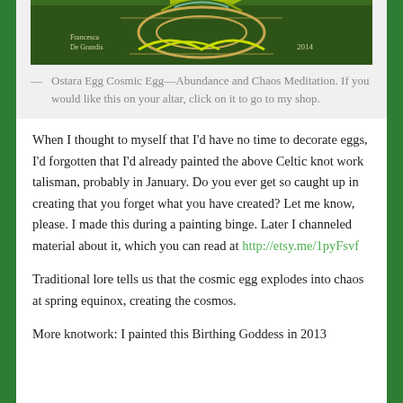[Figure (illustration): Partial view of a Celtic knot talisman painting on dark green background, with signature 'Francesca De Grandis 2014' visible.]
— Ostara Egg Cosmic Egg—Abundance and Chaos Meditation. If you would like this on your altar, click on it to go to my shop.
When I thought to myself that I'd have no time to decorate eggs, I'd forgotten that I'd already painted the above Celtic knot work talisman, probably in January. Do you ever get so caught up in creating that you forget what you have created? Let me know, please. I made this during a painting binge. Later I channeled material about it, which you can read at http://etsy.me/1pyFsvf
Traditional lore tells us that the cosmic egg explodes into chaos at spring equinox, creating the cosmos.
More knotwork: I painted this Birthing Goddess in 2013